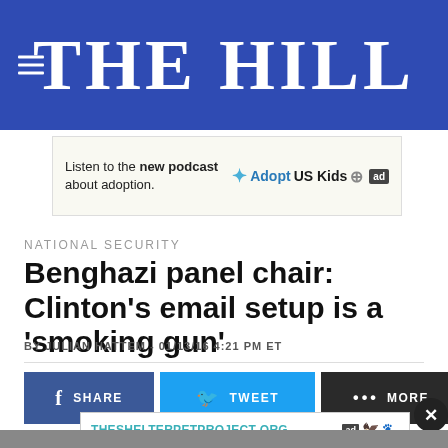THE HILL
[Figure (screenshot): Advertisement banner: Listen to the new podcast about adoption. Adopt US Kids logo.]
NATIONAL SECURITY
Benghazi panel chair: Clinton's email setup is a 'smoking gun'
BY JULIAN HATTEM - 01/13/16 4:21 PM ET
[Figure (screenshot): Social share bar with Facebook SHARE, Twitter TWEET, and MORE buttons. Bottom ad: THESHELTERPETPROJECT.ORG with ad badges.]